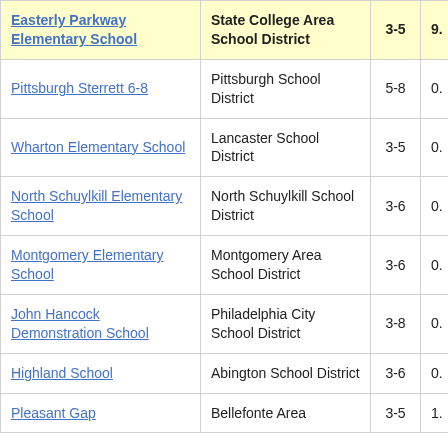| School | District | Grades |  |
| --- | --- | --- | --- |
| Easterly Parkway Elementary School | State College Area School District | 3-5 | 9. |
| Pittsburgh Sterrett 6-8 | Pittsburgh School District | 5-8 | 0. |
| Wharton Elementary School | Lancaster School District | 3-5 | 0. |
| North Schuylkill Elementary School | North Schuylkill School District | 3-6 | 0. |
| Montgomery Elementary School | Montgomery Area School District | 3-6 | 0. |
| John Hancock Demonstration School | Philadelphia City School District | 3-8 | 0. |
| Highland School | Abington School District | 3-6 | 0. |
| Pleasant Gap Elementary School | Bellefonte Area School District | 3-5 | 1. |